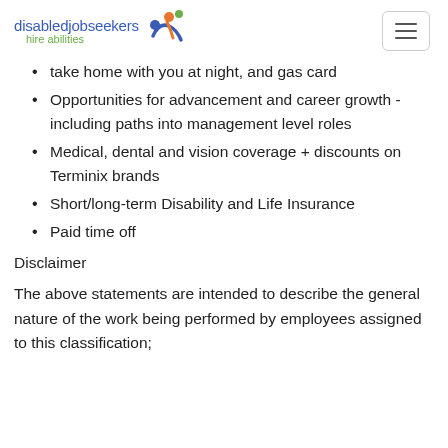disabledjobseekers hire abilities
take home with you at night, and gas card
Opportunities for advancement and career growth - including paths into management level roles
Medical, dental and vision coverage + discounts on Terminix brands
Short/long-term Disability and Life Insurance
Paid time off
Disclaimer
The above statements are intended to describe the general nature of the work being performed by employees assigned to this classification;